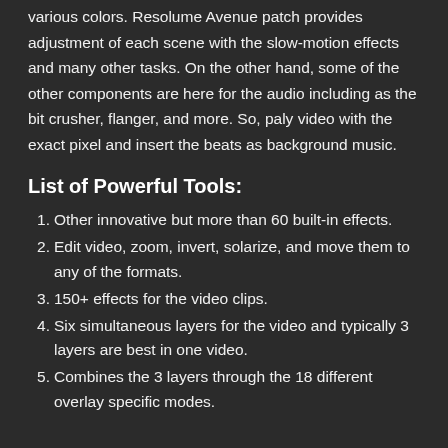various colors. Resolume Avenue patch provides adjustment of each scene with the slow-motion effects and many other tasks. On the other hand, some of the other components are here for the audio including as the bit crusher, flanger, and more. So, paly video with the exact pixel and insert the beats as background music.
List of Powerful Tools:
Other innovative but more than 60 built-in effects.
Edit video, zoom, invert, solarize, and move them to any of the formats.
150+ effects for the video clips.
Six simultaneous layers for the video and typically 3 layers are best in one video.
Combines the 3 layers through the 18 different overlay specific modes.